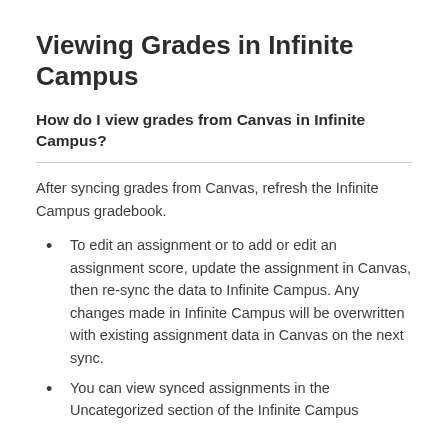Viewing Grades in Infinite Campus
How do I view grades from Canvas in Infinite Campus?
After syncing grades from Canvas, refresh the Infinite Campus gradebook.
To edit an assignment or to add or edit an assignment score, update the assignment in Canvas, then re-sync the data to Infinite Campus. Any changes made in Infinite Campus will be overwritten with existing assignment data in Canvas on the next sync.
You can view synced assignments in the Uncategorized section of the Infinite Campus